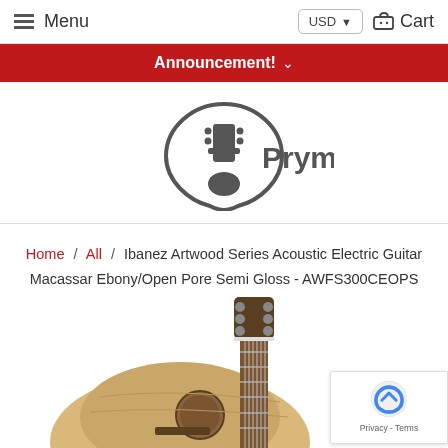Menu  USD  Cart
Announcement!
[Figure (logo): Prymaxe logo: guitar pick outline with guitar headstock inside and 'Prymaxe' text]
Home / All / Ibanez Artwood Series Acoustic Electric Guitar Macassar Ebony/Open Pore Semi Gloss - AWFS300CEOPS
[Figure (photo): Ibanez acoustic electric guitar shown diagonally, natural wood body with dark fretboard and tuning pegs visible at top right]